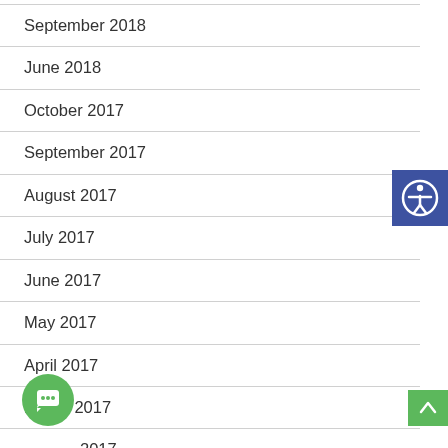September 2018
June 2018
October 2017
September 2017
August 2017
July 2017
June 2017
May 2017
April 2017
March 2017
February 2017
January 2017